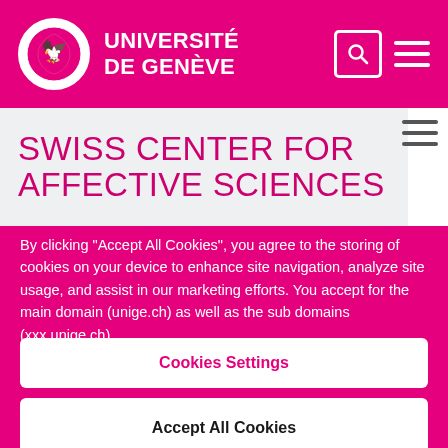UNIVERSITÉ DE GENÈVE
SWISS CENTER FOR AFFECTIVE SCIENCES
By clicking “Accept All Cookies”, you agree to the storing of cookies on your device to enhance site navigation, analyze site usage, and assist in our marketing efforts. You accept for the main domain (unige.ch) as well as the sub domains (xxx.unige.ch).
Cookies Settings
Reject All
Accept All Cookies